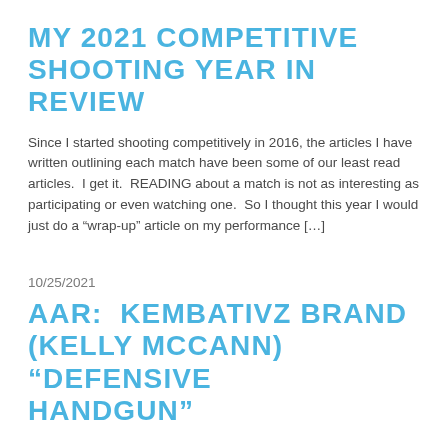MY 2021 COMPETITIVE SHOOTING YEAR IN REVIEW
Since I started shooting competitively in 2016, the articles I have written outlining each match have been some of our least read articles.  I get it.  READING about a match is not as interesting as participating or even watching one.  So I thought this year I would just do a “wrap-up” article on my performance […]
10/25/2021
AAR:  KEMBATIVZ BRAND (KELLY MCCANN) “DEFENSIVE HANDGUN”